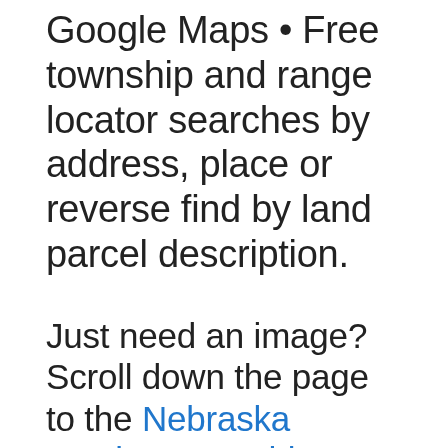Google Maps • Free township and range locator searches by address, place or reverse find by land parcel description.
Just need an image? Scroll down the page to the Nebraska Section Township Range Map Image
Township and Range made easy! With this section township range finder, you can view and search the Public Land Survey System (PLSS), also known as Congressional townships or survey townships, all thr...